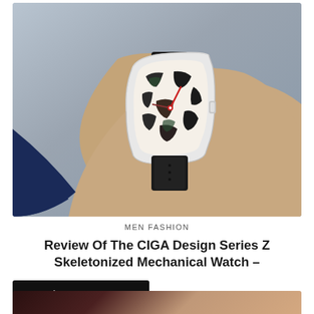[Figure (photo): Close-up photo of a man's wrist wearing a CIGA Design Series Z skeletonized mechanical watch with a black strap, showing the intricate exposed movement through the tonneau-shaped case, against a blurred grey and blue background.]
MEN FASHION
Review Of The CIGA Design Series Z Skeletonized Mechanical Watch –
[Figure (photo): Partial bottom strip showing another photo, likely another watch on a wrist, dark reddish-brown tones.]